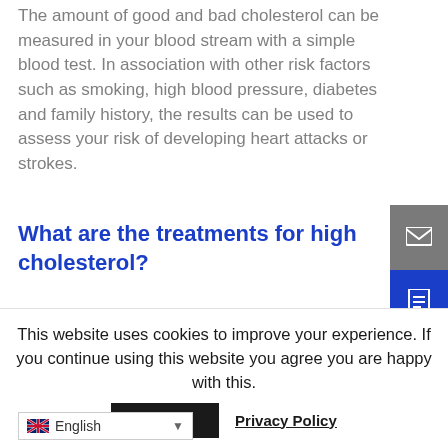The amount of good and bad cholesterol can be measured in your blood stream with a simple blood test. In association with other risk factors such as smoking, high blood pressure, diabetes and family history, the results can be used to assess your risk of developing heart attacks or strokes.
What are the treatments for high cholesterol?
Lowering a high cholesterol level requires a
This website uses cookies to improve your experience. If you continue using this website you agree you are happy with this.
Accept
Privacy Policy
English